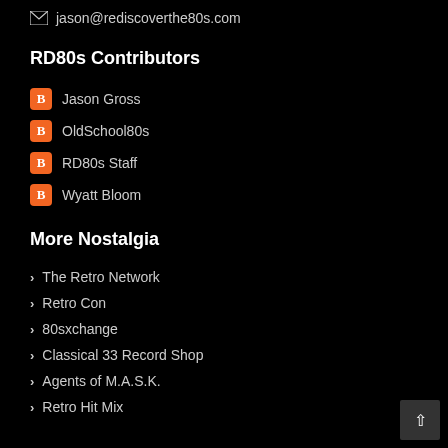jason@rediscoverthe80s.com
RD80s Contributors
Jason Gross
OldSchool80s
RD80s Staff
Wyatt Bloom
More Nostalgia
The Retro Network
Retro Con
80sxchange
Classical 33 Record Shop
Agents of M.A.S.K.
Retro Hit Mix